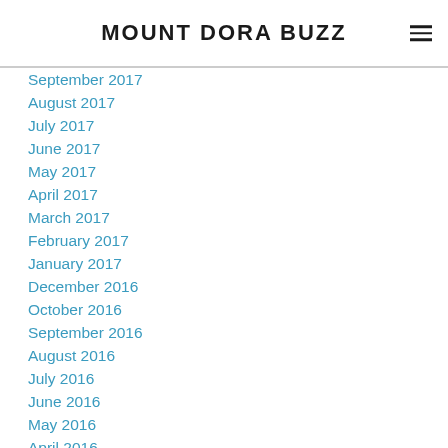MOUNT DORA BUZZ
September 2017
August 2017
July 2017
June 2017
May 2017
April 2017
March 2017
February 2017
January 2017
December 2016
October 2016
September 2016
August 2016
July 2016
June 2016
May 2016
April 2016